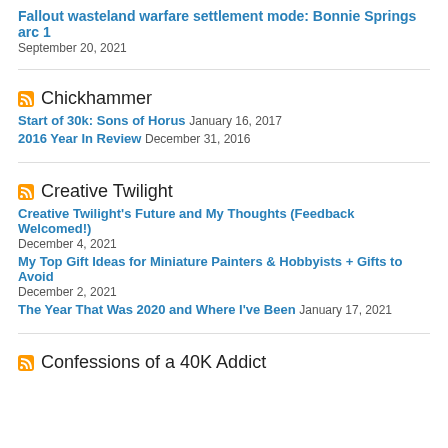Fallout wasteland warfare settlement mode: Bonnie Springs arc 1 — September 20, 2021
Chickhammer
Start of 30k: Sons of Horus — January 16, 2017
2016 Year In Review — December 31, 2016
Creative Twilight
Creative Twilight's Future and My Thoughts (Feedback Welcomed!) — December 4, 2021
My Top Gift Ideas for Miniature Painters & Hobbyists + Gifts to Avoid — December 2, 2021
The Year That Was 2020 and Where I've Been — January 17, 2021
Confessions of a 40K Addict